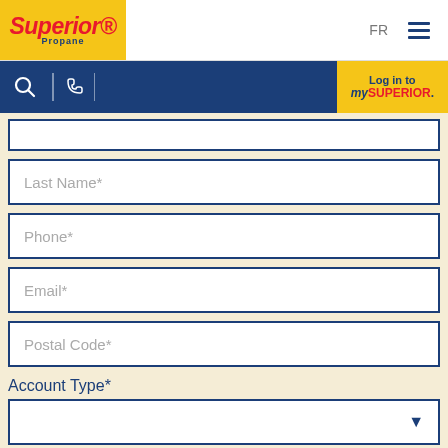[Figure (logo): Superior Propane logo in yellow box, top left]
FR  ☰
[Figure (screenshot): Navigation bar with search icon, phone icon, and Log in to mySUPERIOR button]
Last Name*
Phone*
Email*
Postal Code*
Account Type*
[Figure (screenshot): Dropdown selector for Account Type]